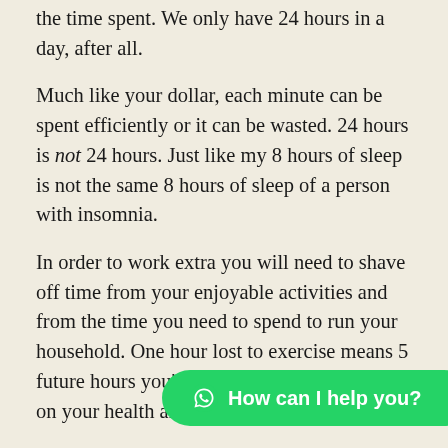the time spent. We only have 24 hours in a day, after all.
Much like your dollar, each minute can be spent efficiently or it can be wasted. 24 hours is not 24 hours. Just like my 8 hours of sleep is not the same 8 hours of sleep of a person with insomnia.
In order to work extra you will need to shave off time from your enjoyable activities and from the time you need to spend to run your household. One hour lost to exercise means 5 future hours you'll have to spend to catch up on your health and diet and mental health.
Ambien and Lipitor might make me fat dollars as a Family Medicine doctor but it doesn't improve the quality of life nor extend the life of the patients who are convinced otherwise. Eq... quality-time you lose by...